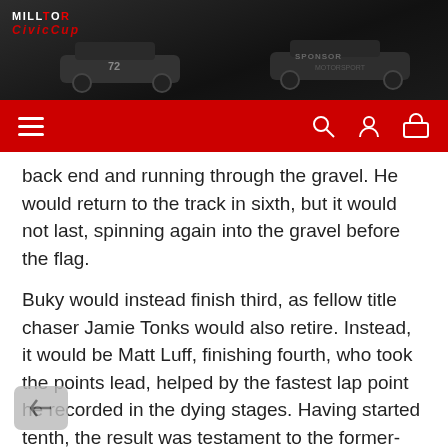[Figure (photo): Dark header photo showing racing cars on a track, with Millto Sport Civic Cup logo in top-left corner]
Navigation bar with hamburger menu icon on left and search, user, and basket icons on right
back end and running through the gravel. He would return to the track in sixth, but it would not last, spinning again into the gravel before the flag.
Buky would instead finish third, as fellow title chaser Jamie Tonks would also retire. Instead, it would be Matt Luff, finishing fourth, who took the points lead, helped by the fastest lap point he recorded in the dying stages. Having started tenth, the result was testament to the former-Ginetta driver's consistency as he aims for a second victory this afternoon.
In fifth Alp-Williams will be hoping for a return to the podium soon as he held off the advances of the Civic